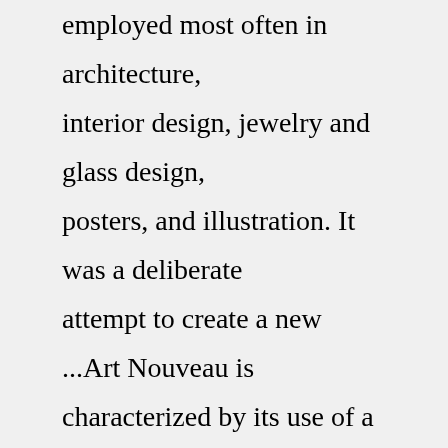employed most often in architecture, interior design, jewelry and glass design, posters, and illustration. It was a deliberate attempt to create a new ...Art Nouveau is characterized by its use of a long, sinuous, organic line and was employed most often in architecture, interior design, jewelry and glass design, posters, and illustration. It was a deliberate attempt to create a new style, free of the imitative historicism that dominated much of 19th century art and